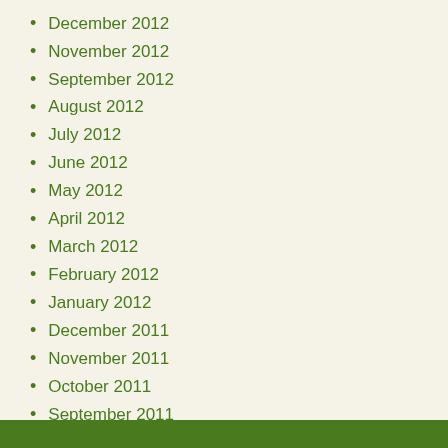December 2012
November 2012
September 2012
August 2012
July 2012
June 2012
May 2012
April 2012
March 2012
February 2012
January 2012
December 2011
November 2011
October 2011
September 2011
August 2011
July 2011
June 2011
May 2011
April 2011